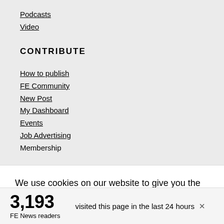Podcasts
Video
CONTRIBUTE
How to publish
FE Community
New Post
My Dashboard
Events
Job Advertising
Membership
We use cookies on our website to give you the most relevant experience by remembering your preferences and repeat visits. By clicking “Accept”, you consent to the use of ALL the cookies. However you may visit Cookie
3,193 FE News readers visited this page in the last 24 hours